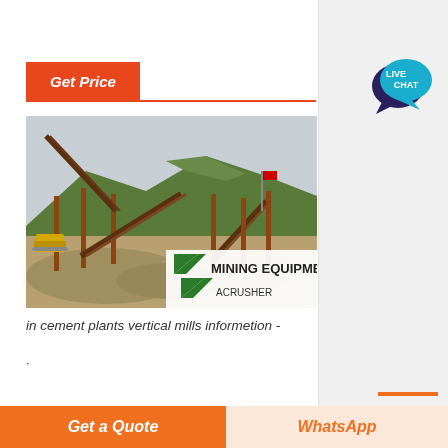Get Price
[Figure (photo): Outdoor mining and crushing equipment facility with conveyor belts and machinery set against a mountainous background. A banner reading 'MINING EQUIPMENT ACRUSHER' is visible in the lower right of the image.]
in cement plants vertical mills informetion -
[Figure (illustration): Live Chat speech bubble icon in teal/dark blue colors with text 'LIVE CHAT']
Get a Quote
WhatsApp